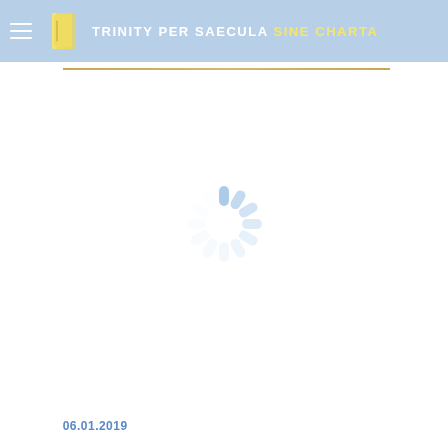TRINITY PER SAECULA SINE CHARTA
[Figure (other): Loading spinner — circular arrangement of short rounded bars in light blue, indicating a loading/waiting state]
06.01.2019